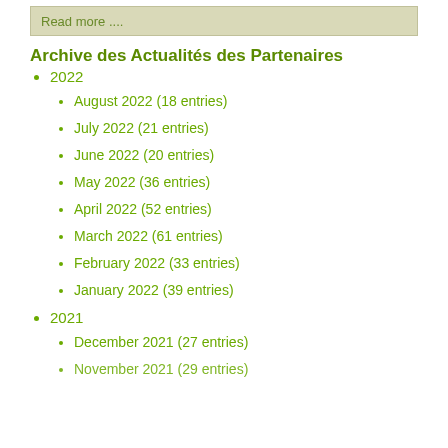Read more ....
Archive des Actualités des Partenaires
2022
August 2022 (18 entries)
July 2022 (21 entries)
June 2022 (20 entries)
May 2022 (36 entries)
April 2022 (52 entries)
March 2022 (61 entries)
February 2022 (33 entries)
January 2022 (39 entries)
2021
December 2021 (27 entries)
November 2021 (29 entries)